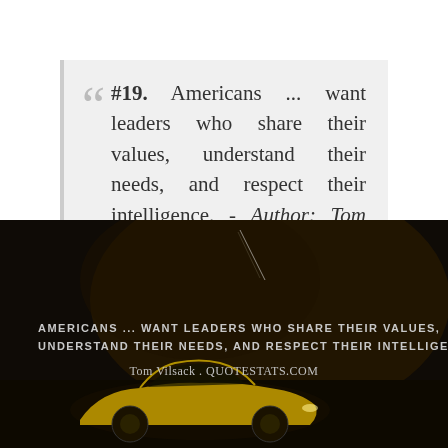#19. Americans ... want leaders who share their values, understand their needs, and respect their intelligence. - Author: Tom Vilsack
[Figure (photo): Dark background photo with a yellow sports car (Lamborghini) partially visible at the bottom, with overlaid text: AMERICANS ... WANT LEADERS WHO SHARE THEIR VALUES, UNDERSTAND THEIR NEEDS, AND RESPECT THEIR INTELLIGENCE. Tom Vilsack . QUOTESTATS.COM]